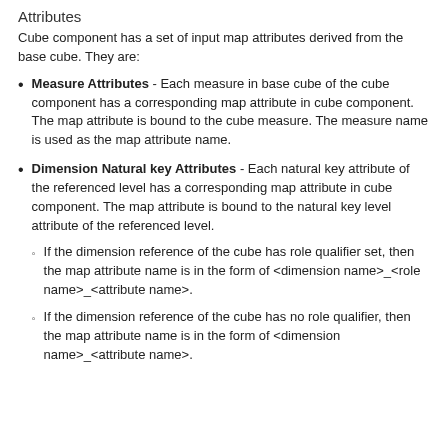Attributes
Cube component has a set of input map attributes derived from the base cube. They are:
Measure Attributes - Each measure in base cube of the cube component has a corresponding map attribute in cube component. The map attribute is bound to the cube measure. The measure name is used as the map attribute name.
Dimension Natural key Attributes - Each natural key attribute of the referenced level has a corresponding map attribute in cube component. The map attribute is bound to the natural key level attribute of the referenced level.
If the dimension reference of the cube has role qualifier set, then the map attribute name is in the form of <dimension name>_<role name>_<attribute name>.
If the dimension reference of the cube has no role qualifier, then the map attribute name is in the form of <dimension name>_<attribute name>.